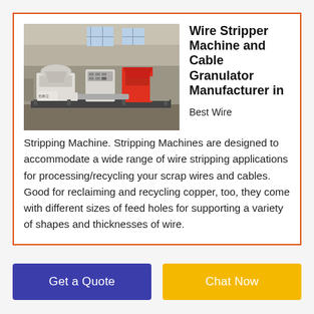[Figure (photo): Industrial wire stripper machine and cable granulator equipment in a factory/warehouse setting. Large white machinery on a platform with red accent components and a control panel.]
Wire Stripper Machine and Cable Granulator Manufacturer in
Best Wire Stripping Machine. Stripping Machines are designed to accommodate a wide range of wire stripping applications for processing/recycling your scrap wires and cables. Good for reclaiming and recycling copper, too, they come with different sizes of feed holes for supporting a variety of shapes and thicknesses of wire.
Get a Quote
Chat Now